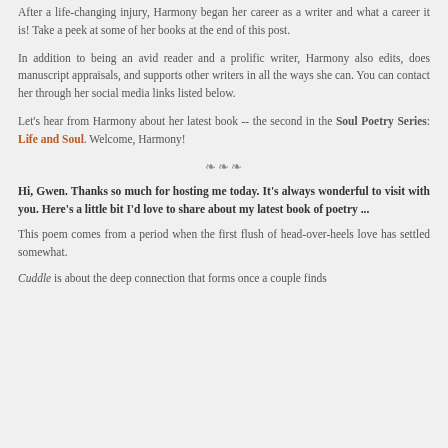After a life-changing injury, Harmony began her career as a writer and what a career it is! Take a peek at some of her books at the end of this post.
In addition to being an avid reader and a prolific writer, Harmony also edits, does manuscript appraisals, and supports other writers in all the ways she can. You can contact her through her social media links listed below.
Let's hear from Harmony about her latest book -- the second in the Soul Poetry Series: Life and Soul. Welcome, Harmony!
❧❧❧
Hi, Gwen. Thanks so much for hosting me today. It's always wonderful to visit with you. Here's a little bit I'd love to share about my latest book of poetry ...
This poem comes from a period when the first flush of head-over-heels love has settled somewhat.
Cuddle is about the deep connection that forms once a couple finds